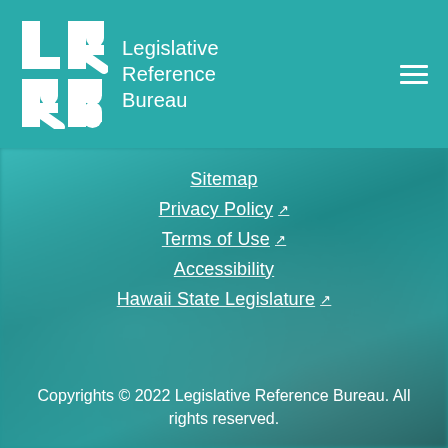Legislative Reference Bureau
Sitemap
Privacy Policy
Terms of Use
Accessibility
Hawaii State Legislature
Copyrights © 2022 Legislative Reference Bureau. All rights reserved.